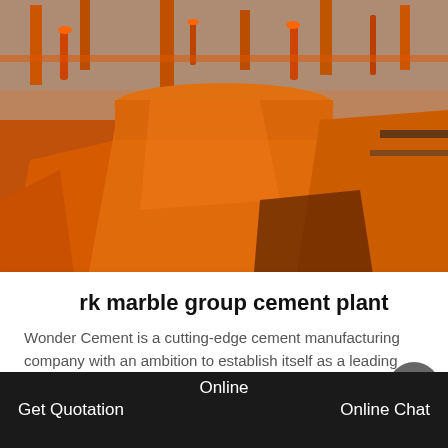[Figure (photo): Orange industrial cement plant machinery and equipment in a factory, large orange metal structures and machinery parts visible]
rk marble group cement plant
Wonder Cement is a cutting-edge cement manufacturing company with an ambition to establish itself as a leading
[Figure (photo): Bottom strip showing cement plant or industrial machinery, partial view]
Online   Get Quotation   Online Chat